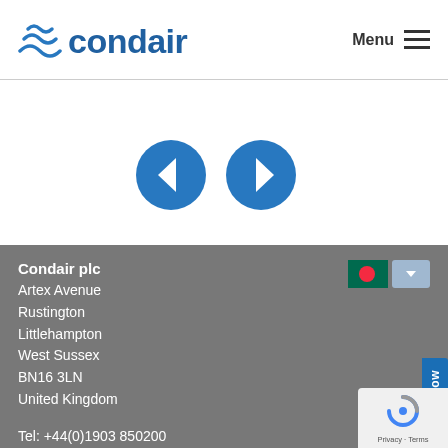[Figure (logo): Condair logo with wave icon in blue]
Menu
[Figure (infographic): Two circular blue navigation arrow buttons (left and right)]
Condair plc
Artex Avenue
Rustington
Littlehampton
West Sussex
BN16 3LN
United Kingdom

Tel: +44(0)1903 850200
uk.sales@condair.com